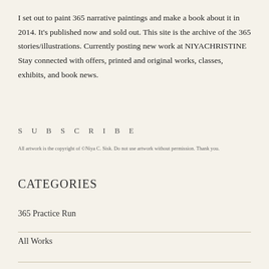I set out to paint 365 narrative paintings and make a book about it in 2014. It's published now and sold out. This site is the archive of the 365 stories/illustrations. Currently posting new work at NIYACHRISTINE Stay connected with offers, printed and original works, classes, exhibits, and book news.
S U B S C R I B E
All artwork is the copyright of ©Niya C. Sisk. Do not use artwork without permission. Thank you.
CATEGORIES
365 Practice Run
All Works